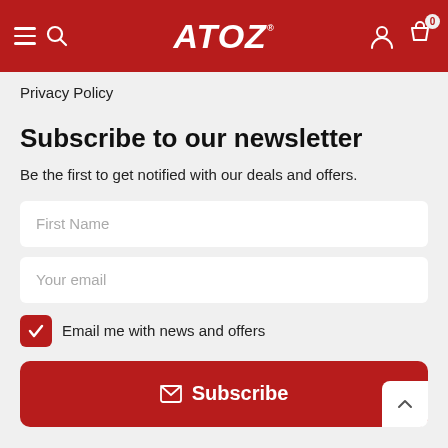ATOZ
Privacy Policy
Subscribe to our newsletter
Be the first to get notified with our deals and offers.
First Name
Your email
Email me with news and offers
Subscribe